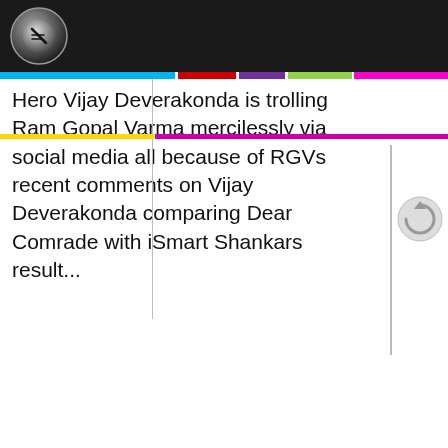[Figure (logo): iQlik logo on dark header bar]
Hero Vijay Deverakonda is trolling Ram Gopal Varma mercilessly via social media all because of RGVs recent comments on Vijay Deverakonda comparing Dear Comrade with iSmart Shankars result...
[Figure (photo): Photo of two men with text overlay 'Bar Blocked!']
iSmart Josh: Bar Blocked, Waiting For #RGV
By iQlik Movies - 19 July 2019 11:09:13
While congratulating the team of iSmart Shankar...